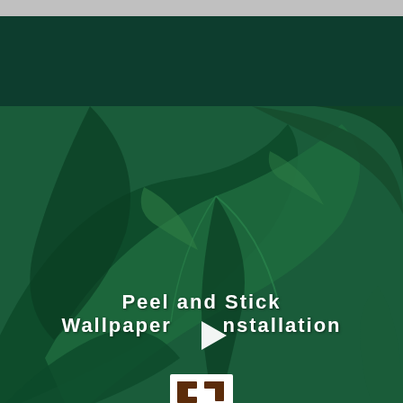[Figure (illustration): Video thumbnail showing tropical green leaves background with dark teal top section. Bold white text reads 'Peel and Stick Wallpaper Installation' with a play button icon in the center. A logo appears at the bottom.]